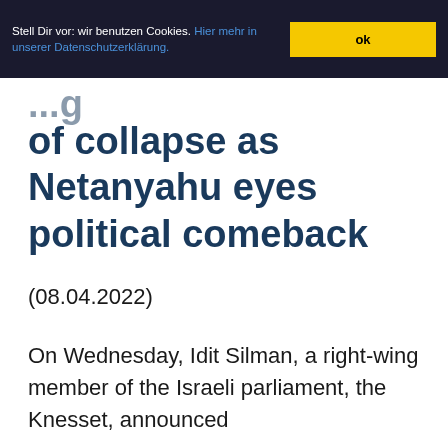Stell Dir vor: wir benutzen Cookies. Hier mehr in unserer Datenschutzerklärung. ok
of collapse as Netanyahu eyes political comeback
(08.04.2022)
On Wednesday, Idit Silman, a right-wing member of the Israeli parliament, the Knesset, announced